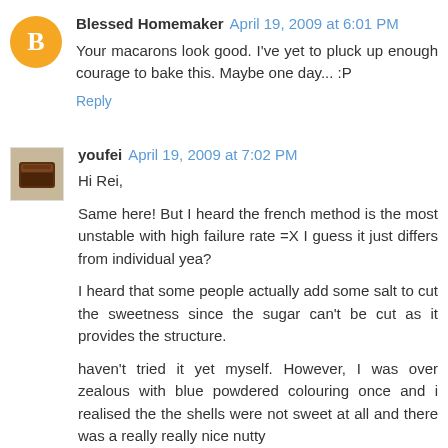Blessed Homemaker April 19, 2009 at 6:01 PM
Your macarons look good. I've yet to pluck up enough courage to bake this. Maybe one day... :P
Reply
youfei April 19, 2009 at 7:02 PM
Hi Rei,

Same here! But I heard the french method is the most unstable with high failure rate =X I guess it just differs from individual yea?

I heard that some people actually add some salt to cut the sweetness since the sugar can't be cut as it provides the structure.

haven't tried it yet myself. However, I was over zealous with blue powdered colouring once and i realised the the shells were not sweet at all and there was a really really nice nutty